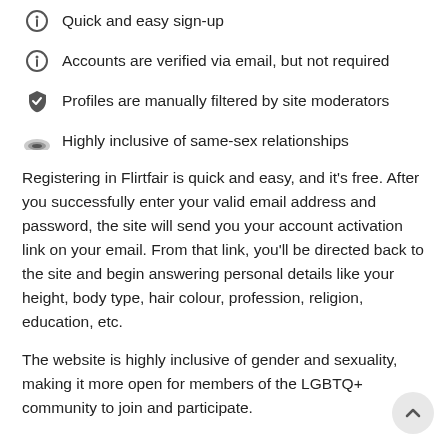Quick and easy sign-up
Accounts are verified via email, but not required
Profiles are manually filtered by site moderators
Highly inclusive of same-sex relationships
Registering in Flirtfair is quick and easy, and it's free. After you successfully enter your valid email address and password, the site will send you your account activation link on your email. From that link, you'll be directed back to the site and begin answering personal details like your height, body type, hair colour, profession, religion, education, etc.
The website is highly inclusive of gender and sexuality, making it more open for members of the LGBTQ+ community to join and participate.